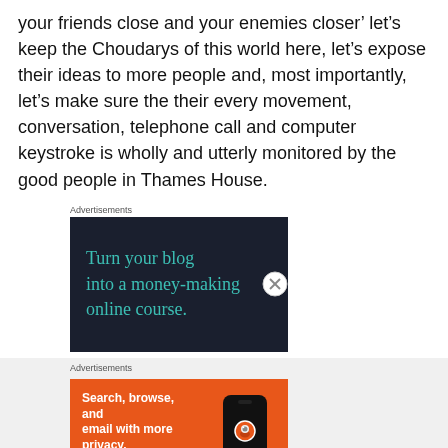your friends close and your enemies closer’ let’s keep the Choudarys of this world here, let’s expose their ideas to more people and, most importantly, let’s make sure the their every movement, conversation, telephone call and computer keystroke is wholly and utterly monitored by the good people in Thames House.
Advertisements
[Figure (other): Dark-background advertisement reading 'Turn your blog into a money-making online course.' in teal serif text with a close (X) button]
Advertisements
[Figure (other): Orange DuckDuckGo advertisement reading 'Search, browse, and email with more privacy. All in One Free App' with a phone graphic and DuckDuckGo logo]